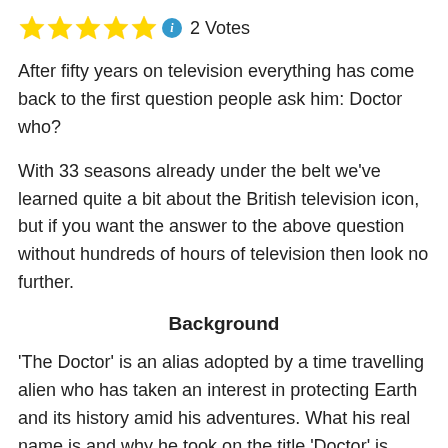[Figure (other): Five gold star rating icons followed by a blue info icon and '2 Votes' text]
After fifty years on television everything has come back to the first question people ask him: Doctor who?
With 33 seasons already under the belt we've learned quite a bit about the British television icon, but if you want the answer to the above question without hundreds of hours of television then look no further.
Background
'The Doctor' is an alias adopted by a time travelling alien who has taken an interest in protecting Earth and its history amid his adventures. What his real name is and why he took on the title 'Doctor' is something that he has kept to himself, but he does claim that the original Greek medicine practitioners adopted the title in his honour. The